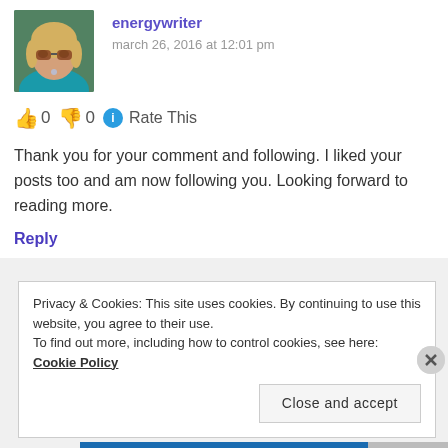[Figure (photo): Avatar photo of energywriter — a woman with blonde hair, sunglasses, wearing a teal top, with green foliage in background]
energywriter
march 26, 2016 at 12:01 pm
👍 0 👎 0 ℹ Rate This
Thank you for your comment and following. I liked your posts too and am now following you. Looking forward to reading more.
Reply
Privacy & Cookies: This site uses cookies. By continuing to use this website, you agree to their use.
To find out more, including how to control cookies, see here: Cookie Policy
Close and accept